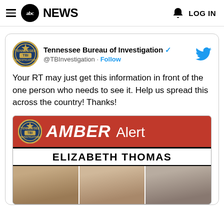abc NEWS  LOG IN
[Figure (screenshot): Embedded tweet from Tennessee Bureau of Investigation (@TBInvestigation) with AMBER Alert for Elizabeth Thomas, showing red AMBER Alert banner with TBI badge and three mugshot-style photos]
Tennessee Bureau of Investigation @TBInvestigation · Follow
Your RT may just get this information in front of the one person who needs to see it. Help us spread this across the country! Thanks!
AMBER Alert ELIZABETH THOMAS